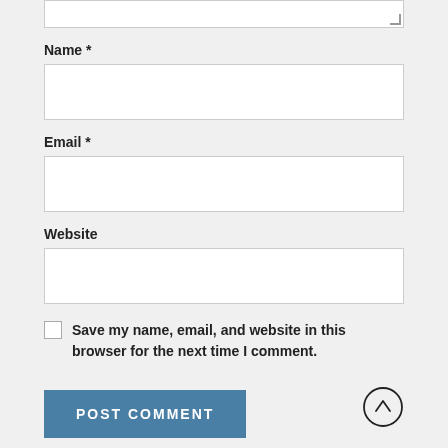[textarea top partial]
Name *
Email *
Website
Save my name, email, and website in this browser for the next time I comment.
POST COMMENT